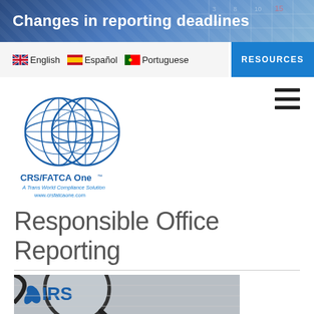[Figure (other): Banner image showing 'Changes in reporting deadlines' text over a blurred calendar background]
English  Español  Portuguese
RESOURCES
[Figure (logo): CRS/FATCA One logo - two overlapping globe icons in blue with text 'CRS/FATCA One™ A Trans World Compliance Solution www.crsfatcaone.com']
Responsible Office Reporting
[Figure (photo): Close-up photo of IRS logo through a magnifying glass]